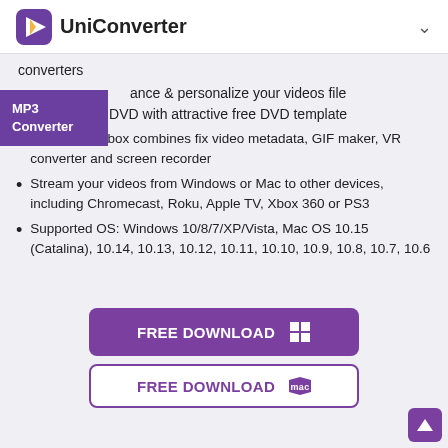UniConverter
converters
[Figure (logo): MP3 Converter badge — purple rectangle with white bold text]
ance & personalize your videos file
eo to playable DVD with attractive free DVD template
Versatile toolbox combines fix video metadata, GIF maker, VR converter and screen recorder
Stream your videos from Windows or Mac to other devices, including Chromecast, Roku, Apple TV, Xbox 360 or PS3
Supported OS: Windows 10/8/7/XP/Vista, Mac OS 10.15 (Catalina), 10.14, 10.13, 10.12, 10.11, 10.10, 10.9, 10.8, 10.7, 10.6
FREE DOWNLOAD (Windows)
FREE DOWNLOAD (Mac)